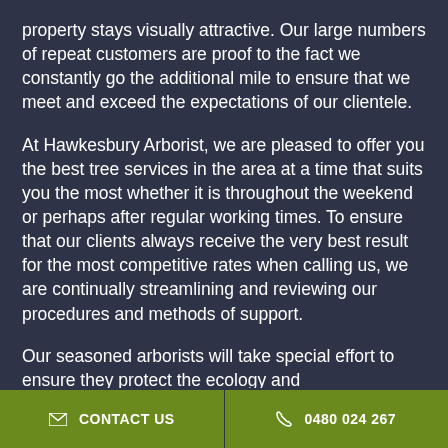property stays visually attractive. Our large numbers of repeat customers are proof to the fact we constantly go the additional mile to ensure that we meet and exceed the expectations of our clientele.
At Hawkesbury Arborist, we are pleased to offer you the best tree services in the area at a time that suits you the most whether it is throughout the weekend or perhaps after regular working times. To ensure that our clients always receive the very best result for the most competitive rates when calling us, we are continually streamlining and reviewing our procedures and methods of support.
Our seasoned arborists will take special effort to ensure they protect the ecology and
CONTACT US   0480 024 267